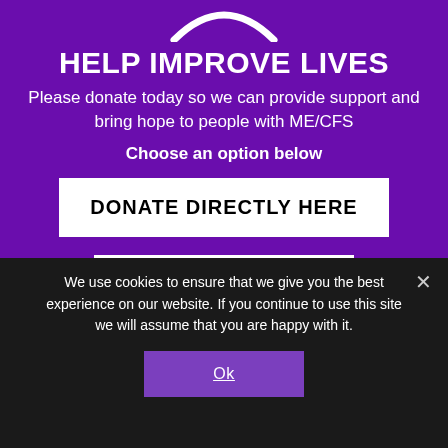[Figure (logo): Partial arc/loop logo in white at the top of the purple background]
HELP IMPROVE LIVES
Please donate today so we can provide support and bring hope to people with ME/CFS
Choose an option below
DONATE DIRECTLY HERE
JUSTGIVING
MAKING PURCHASES IN OUR SHOP
We use cookies to ensure that we give you the best experience on our website. If you continue to use this site we will assume that you are happy with it.
Ok